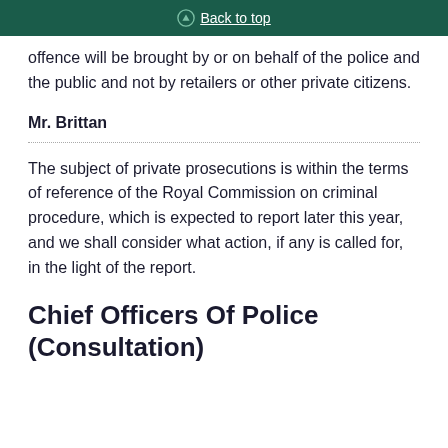Back to top
offence will be brought by or on behalf of the police and the public and not by retailers or other private citizens.
Mr. Brittan
The subject of private prosecutions is within the terms of reference of the Royal Commission on criminal procedure, which is expected to report later this year, and we shall consider what action, if any is called for, in the light of the report.
Chief Officers Of Police (Consultation)